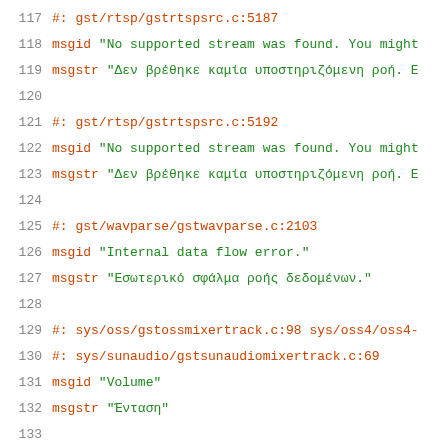117  #: gst/rtsp/gstrtspsrc.c:5187
118  msgid "No supported stream was found. You might
119  msgstr "Δεν βρέθηκε καμία υποστηριζόμενη ροή. Ε
120
121  #: gst/rtsp/gstrtspsrc.c:5192
122  msgid "No supported stream was found. You might
123  msgstr "Δεν βρέθηκε καμία υποστηριζόμενη ροή. Ε
124
125  #: gst/wavparse/gstwavparse.c:2103
126  msgid "Internal data flow error."
127  msgstr "Εσωτερικό σφάλμα ροής δεδομένων."
128
129  #: sys/oss/gstossmixertrack.c:98 sys/oss4/oss4-
130  #: sys/sunaudio/gstsunaudiomixertrack.c:69
131  msgid "Volume"
132  msgstr "Ένταση"
133
134  #: sys/oss/gstossmixertrack.c:99 sys/oss4/oss4-
135  msgid "Bass"
136  msgstr "Μπάσα"
137